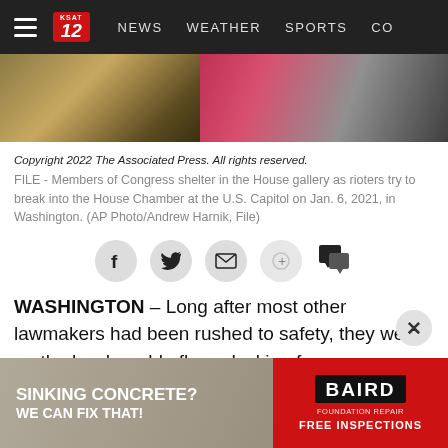[Figure (screenshot): Website navigation bar with hamburger menu, KSAT 12 logo, and nav links: NEWS, WEATHER, SPORTS, CO...]
[Figure (photo): File photo showing members of Congress sheltering in the House gallery during the January 6, 2021 Capitol riot.]
Copyright 2022 The Associated Press. All rights reserved.
FILE - Members of Congress shelter in the House gallery as rioters try to break into the House Chamber at the U.S. Capitol on Jan. 6, 2021, in Washington. (AP Photo/Andrew Harnik, File)
[Figure (infographic): Social share buttons: Facebook, Twitter, Email, Share, and Comment icons]
WASHINGTON – Long after most other lawmakers had been rushed to safety, they were on the hard marble floor, ducking for cover.
[Figure (photo): Advertisement banner: SINKING CONCRETE? WE CAN FIX THAT! BAIRD FOUNDATION REPAIR FREE INSPECTIONS]